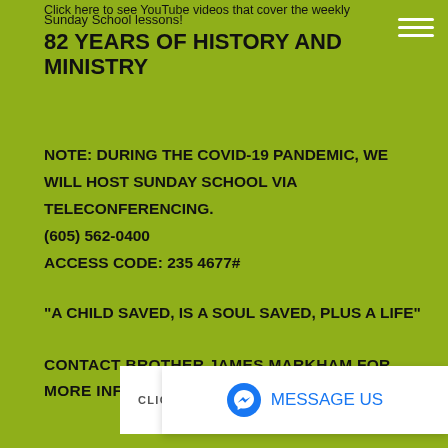Click here to see YouTube videos that cover the weekly Sunday School lessons!
82 YEARS OF HISTORY AND MINISTRY
NOTE: During the COVID-19 pandemic, we will host Sunday School via teleconferencing.
(605) 562-0400
Access Code: 235 4677#
"A child saved, is a soul saved, plus a life"
CONTACT BROTHER JAMES MARKHAM FOR MORE INFORMATION
CLICK TO VIEW POWER FOR
Message Us